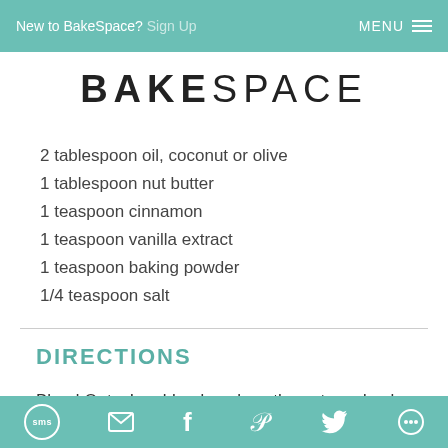New to BakeSpace? Sign Up    MENU
BAKESPACE
2 tablespoon oil, coconut or olive
1 tablespoon nut butter
1 teaspoon cinnamon
1 teaspoon vanilla extract
1 teaspoon baking powder
1/4 teaspoon salt
DIRECTIONS
Blend Oats: In a blender, place the oats and pulse on medium speed for 30 seconds or until oats are a
sms  email  facebook  pinterest  twitter  other